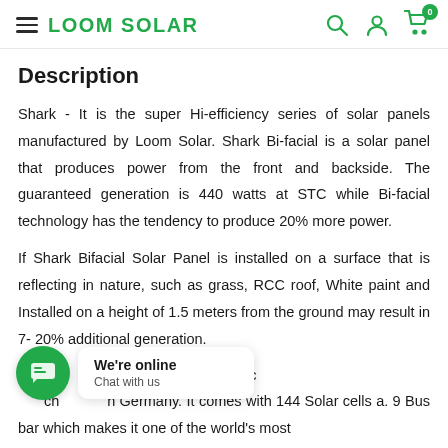LOOM SOLAR
Description
Shark - It is the super Hi-efficiency series of solar panels manufactured by Loom Solar. Shark Bi-facial is a solar panel that produces power from the front and backside. The guaranteed generation is 440 watts at STC while Bi-facial technology has the tendency to produce 20% more power.
If Shark Bifacial Solar Panel is installed on a surface that is reflecting in nature, such as grass, RCC roof, White paint and Installed on a height of 1.5 meters from the ground may result in 7- 20% additional generation.
...K so...de of Pure Mono Perc ...ch...h Germany. It comes with 144 Solar cells a. 9 Bus bar which makes it one of the world's most